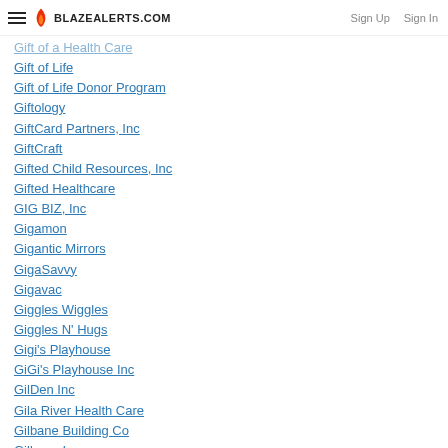BLAZEALERTS.COM | Sign Up | Sign In
Gift of a Health Care
Gift of Life
Gift of Life Donor Program
Giftology
GiftCard Partners, Inc
GiftCraft
Gifted Child Resources, Inc
Gifted Healthcare
GIG BIZ, Inc
Gigamon
Gigantic Mirrors
GigaSavvy
Gigavac
Giggles Wiggles
Giggles N' Hugs
Gigi's Playhouse
GiGi's Playhouse Inc
GilDen Inc
Gila River Health Care
Gilbane Building Co
Gilbane Inc
Gilbane Incorporated
Gilbarco